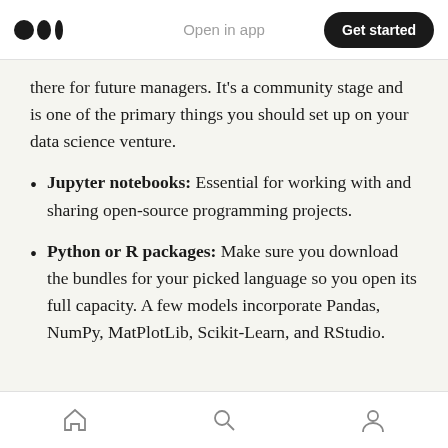Open in app | Get started
there for future managers. It’s a community stage and is one of the primary things you should set up on your data science venture.
Jupyter notebooks: Essential for working with and sharing open-source programming projects.
Python or R packages: Make sure you download the bundles for your picked language so you open its full capacity. A few models incorporate Pandas, NumPy, MatPlotLib, Scikit-Learn, and RStudio.
Home | Search | Profile